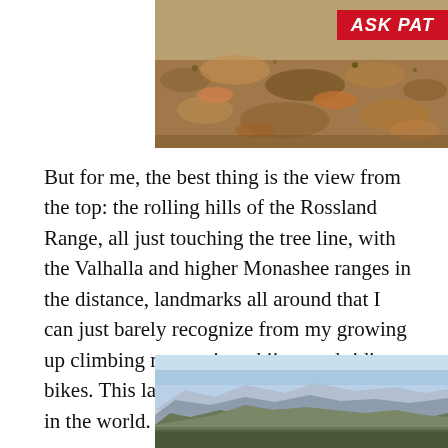[Figure (photo): Close-up photo of rocky, barren mountain terrain with orange-brown soil and sparse dry vegetation.]
But for me, the best thing is the view from the top: the rolling hills of the Rossland Range, all just touching the tree line, with the Valhalla and higher Monashee ranges in the distance, landmarks all around that I can just barely recognize from my growing up climbing mountains, skiing, and riding bikes. This landscape is my favourite place in the world.
[Figure (photo): Wide panoramic photo of mountain ridgeline with blue sky above and forested slopes below, showing distant mountain ranges.]